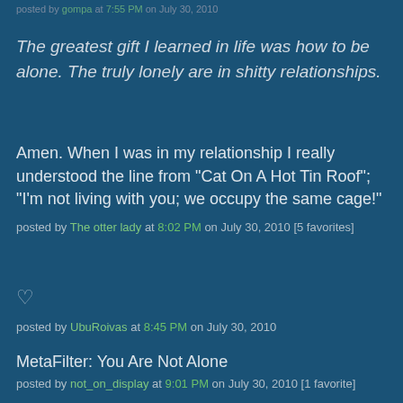posted by gompa at 7:55 PM on July 30, 2010
The greatest gift I learned in life was how to be alone. The truly lonely are in shitty relationships.
Amen. When I was in my relationship I really understood the line from "Cat On A Hot Tin Roof"; "I'm not living with you; we occupy the same cage!"
posted by The otter lady at 8:02 PM on July 30, 2010 [5 favorites]
♡
posted by UbuRoivas at 8:45 PM on July 30, 2010
MetaFilter: You Are Not Alone
posted by not_on_display at 9:01 PM on July 30, 2010 [1 favorite]